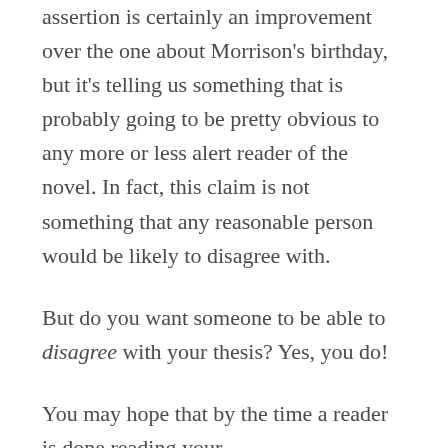assertion is certainly an improvement over the one about Morrison's birthday, but it's telling us something that is probably going to be pretty obvious to any more or less alert reader of the novel.  In fact, this claim is not something that any reasonable person would be likely to disagree with.
But do you want someone to be able to disagree with your thesis?  Yes, you do!
You may hope that by the time a reader is done reading your